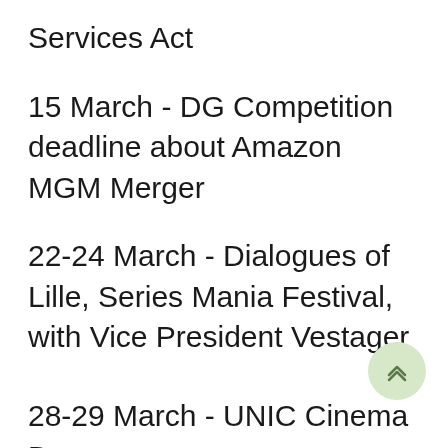Services Act
15 March - DG Competition deadline about Amazon MGM Merger
22-24 March - Dialogues of Lille, Series Mania Festival, with Vice President Vestager
28-29 March - UNIC Cinema Days